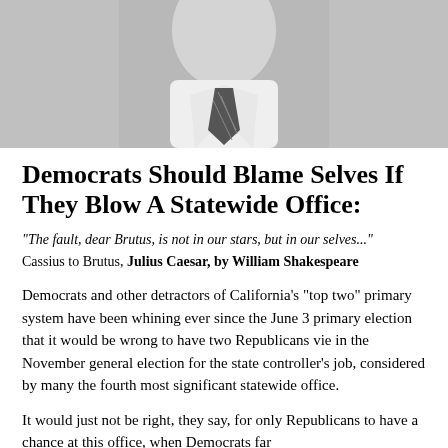[Figure (photo): Black and white photo of a man in a white shirt and striped tie, cropped at the neck/shoulders]
Democrats Should Blame Selves If They Blow A Statewide Office:
“The fault, dear Brutus, is not in our stars, but in our selves…” Cassius to Brutus, Julius Caesar, by William Shakespeare
Democrats and other detractors of California’s “top two” primary system have been whining ever since the June 3 primary election that it would be wrong to have two Republicans vie in the November general election for the state controller’s job, considered by many the fourth most significant statewide office.
It would just not be right, they say, for only Republicans to have a chance at this office, when Democrats far